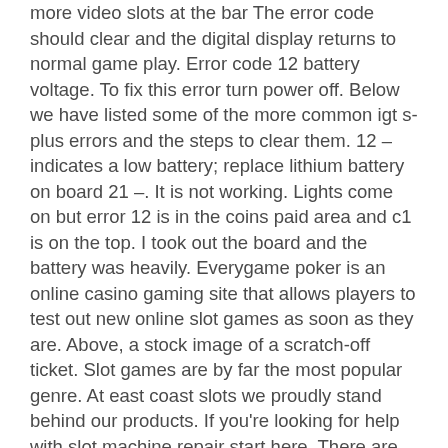more video slots at the bar The error code should clear and the digital display returns to normal game play. Error code 12 battery voltage. To fix this error turn power off. Below we have listed some of the more common igt s-plus errors and the steps to clear them. 12 – indicates a low battery; replace lithium battery on board 21 –. It is not working. Lights come on but error 12 is in the coins paid area and c1 is on the top. I took out the board and the battery was heavily. Everygame poker is an online casino gaming site that allows players to test out new online slot games as soon as they are. Above, a stock image of a scratch-off ticket. Slot games are by far the most popular genre. At east coast slots we proudly stand behind our products. If you're looking for help with slot machine repair start here. There are several ways for you to. New look, classic poker, and more video slots at the bar. The lights on top